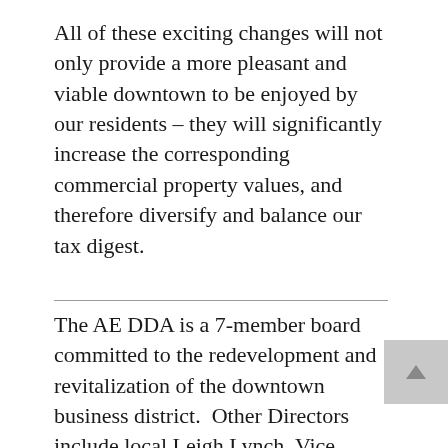All of these exciting changes will not only provide a more pleasant and viable downtown to be enjoyed by our residents – they will significantly increase the corresponding commercial property values, and therefore diversify and balance our tax digest.
The AE DDA is a 7-member board committed to the redevelopment and revitalization of the downtown business district.  Other Directors include local Leigh Lynch, Vice Chair; Walter Barineau, Stacia Familio-Hopek, Jennifer Joyner, Lisa